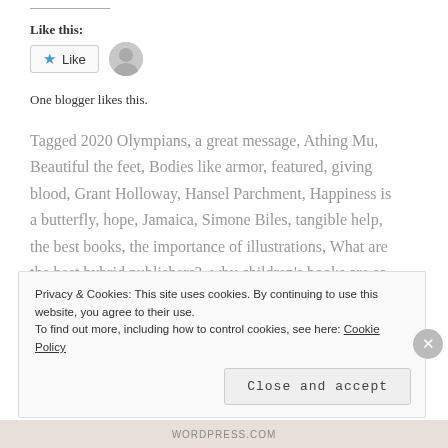Like this:
[Figure (other): Like button with star icon and a blogger avatar image]
One blogger likes this.
Tagged 2020 Olympians, a great message, Athing Mu, Beautiful the feet, Bodies like armor, featured, giving blood, Grant Holloway, Hansel Parchment, Happiness is a butterfly, hope, Jamaica, Simone Biles, tangible help, the best books, the importance of illustrations, What are the best hybrid publishers?, why children's books are so powerful
Privacy & Cookies: This site uses cookies. By continuing to use this website, you agree to their use. To find out more, including how to control cookies, see here: Cookie Policy
Close and accept